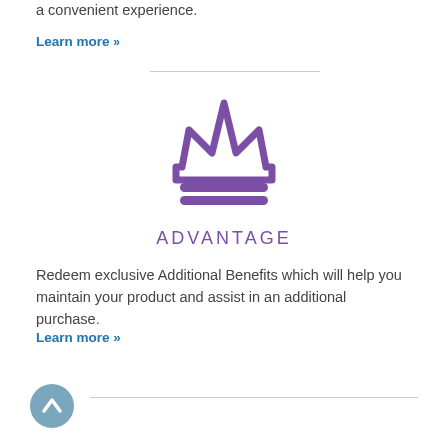a convenient experience.
Learn more »
[Figure (illustration): Purple crown icon representing Advantage tier]
ADVANTAGE
Redeem exclusive Additional Benefits which will help you maintain your product and assist in an additional purchase.
Learn more »